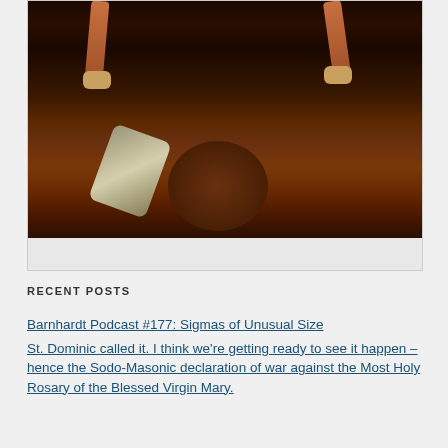[Figure (photo): Dark religious painting showing figures with arms raised, cloth/garments visible, and a dark background — likely a Baroque-style painting.]
RECENT POSTS
Barnhardt Podcast #177: Sigmas of Unusual Size
St. Dominic called it. I think we're getting ready to see it happen – hence the Sodo-Masonic declaration of war against the Most Holy Rosary of the Blessed Virgin Mary.